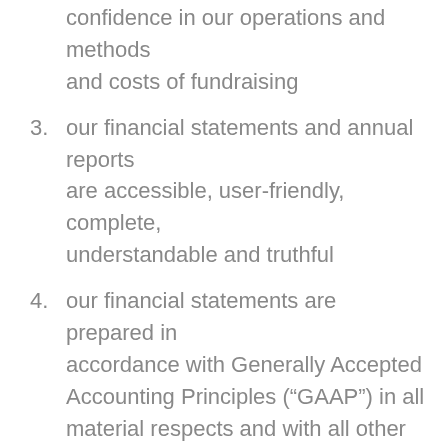confidence in our operations and methods and costs of fundraising
3. our financial statements and annual reports are accessible, user-friendly, complete, understandable and truthful
4. our financial statements are prepared in accordance with Generally Accepted Accounting Principles (“GAAP”) in all material respects and with all other guidelines adopted by the Canadian Institute of Chartered Accountants (“CICA”) that apply specifically to our type of charitable organization
5. if we release a financial summary or extract, it is clearly related to and consistent